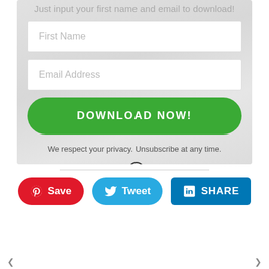Just input your first name and email to download!
First Name
Email Address
DOWNLOAD NOW!
We respect your privacy. Unsubscribe at any time.
BUILT WITH ConvertKit
Save
Tweet
SHARE